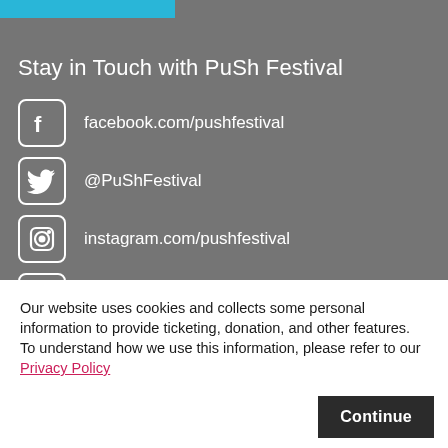[Figure (other): Blue horizontal bar at top of gray section]
Stay in Touch with PuSh Festival
facebook.com/pushfestival
@PuShFestival
instagram.com/pushfestival
youtube.com/pushfestival
Our website uses cookies and collects some personal information to provide ticketing, donation, and other features. To understand how we use this information, please refer to our Privacy Policy